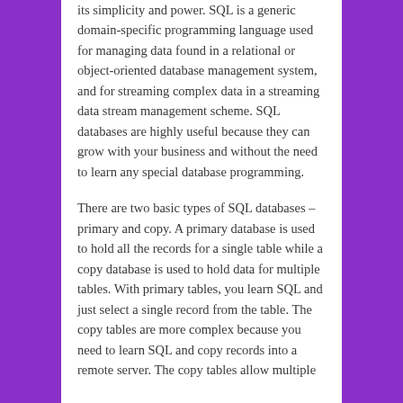its simplicity and power. SQL is a generic domain-specific programming language used for managing data found in a relational or object-oriented database management system, and for streaming complex data in a streaming data stream management scheme. SQL databases are highly useful because they can grow with your business and without the need to learn any special database programming.
There are two basic types of SQL databases – primary and copy. A primary database is used to hold all the records for a single table while a copy database is used to hold data for multiple tables. With primary tables, you learn SQL and just select a single record from the table. The copy tables are more complex because you need to learn SQL and copy records into a remote server. The copy tables allow multiple